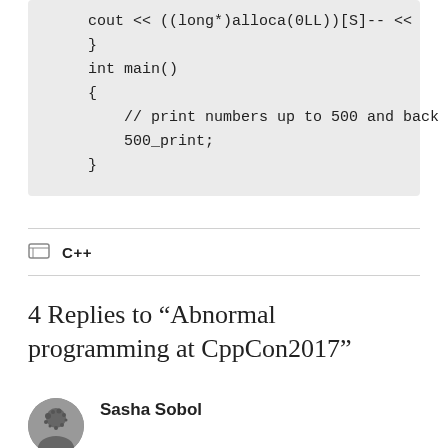cout << ((long*)alloca(0LL))[S]-- <<
    }
    int main()
    {
        // print numbers up to 500 and back
        500_print;
    }
C++
4 Replies to “Abnormal programming at CppCon2017”
Sasha Sobol